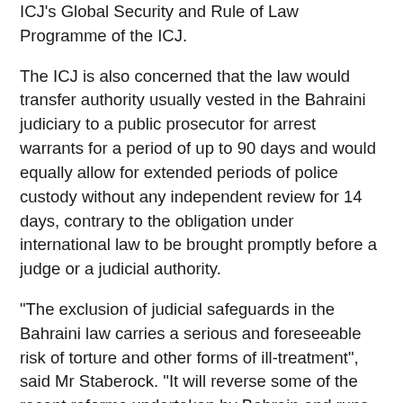ICJ's Global Security and Rule of Law Programme of the ICJ.
The ICJ is also concerned that the law would transfer authority usually vested in the Bahraini judiciary to a public prosecutor for arrest warrants for a period of up to 90 days and would equally allow for extended periods of police custody without any independent review for 14 days, contrary to the obligation under international law to be brought promptly before a judge or a judicial authority.
“The exclusion of judicial safeguards in the Bahraini law carries a serious and foreseeable risk of torture and other forms of ill-treatment”, said Mr Staberock. “It will reverse some of the recent reforms undertaken by Bahrain and runs counter the conclusions of the UN Committee Against Torture, which had urged Bahrain to